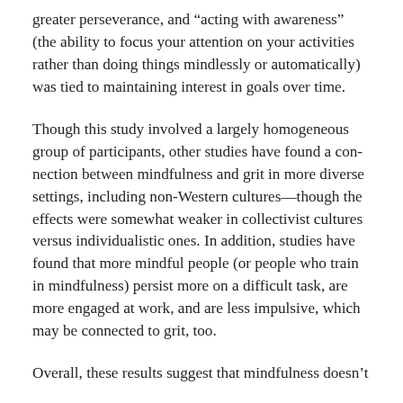greater perseverance, and “acting with awareness” (the ability to focus your attention on your activities rather than doing things mindlessly or automatically) was tied to maintaining interest in goals over time.
Though this study involved a largely homogeneous group of participants, other studies have found a connection between mindfulness and grit in more diverse settings, including non-Western cultures—though the effects were somewhat weaker in collectivist cultures versus individualistic ones. In addition, studies have found that more mindful people (or people who train in mindfulness) persist more on a difficult task, are more engaged at work, and are less impulsive, which may be connected to grit, too.
Overall, these results suggest that mindfulness doesn’t